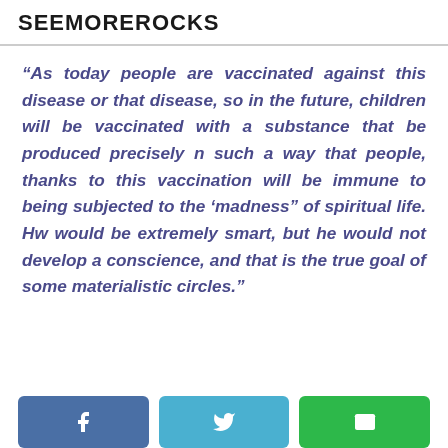SEEMOREROCKS
“As today people are vaccinated against this disease or that disease, so in the future, children will be vaccinated with a substance that be produced precisely n such a way that people, thanks to this vaccination will be immune to being subjected to the ‘madness” of spiritual life. Hw would be extremely smart, but he would not develop a conscience, and that is the true goal of some materialistic circles.”
[Figure (other): Social sharing buttons: Facebook, Twitter, and email/share buttons at the bottom of the page]